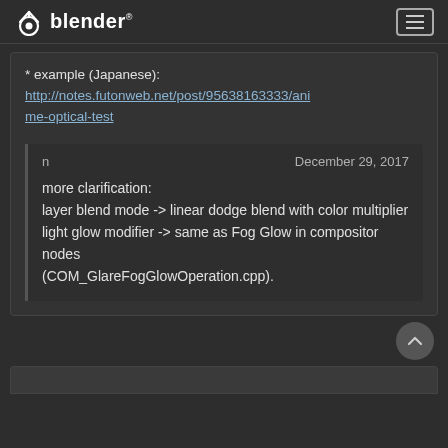blender
* example (Japanese):
http://notes.futonweb.net/post/95638163333/anime-optical-test
n	December 29, 2017
more clarification:
layer blend mode -> linear dodge blend with color multiplier
light glow modifier -> same as Fog Glow in compositor nodes
(COM_GlareFogGlowOperation.cpp).